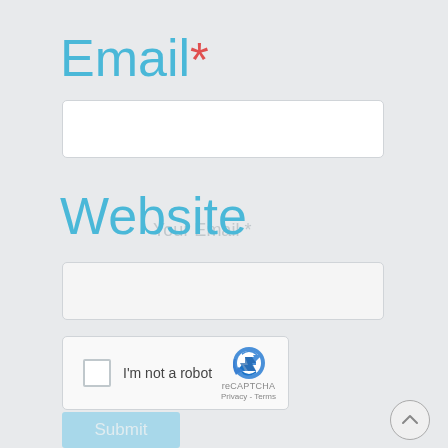Email*
Your Email *
Website
Your Website
[Figure (screenshot): reCAPTCHA widget with checkbox labeled 'I'm not a robot', reCAPTCHA logo, Privacy and Terms links]
Submit